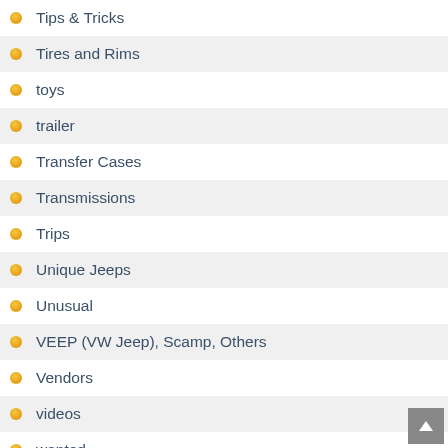Tips & Tricks
Tires and Rims
toys
trailer
Transfer Cases
Transmissions
Trips
Unique Jeeps
Unusual
VEEP (VW Jeep), Scamp, Others
Vendors
videos
wanted
War Images
Website